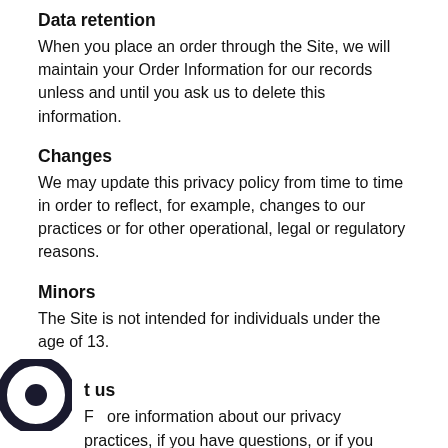Data retention
When you place an order through the Site, we will maintain your Order Information for our records unless and until you ask us to delete this information.
Changes
We may update this privacy policy from time to time in order to reflect, for example, changes to our practices or for other operational, legal or regulatory reasons.
Minors
The Site is not intended for individuals under the age of 13.
Contact us
For more information about our privacy practices, if you have questions, or if you would like to make a